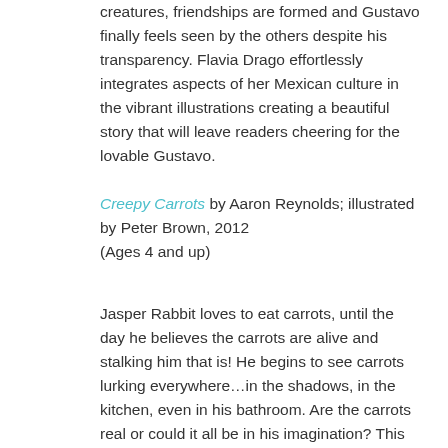creatures, friendships are formed and Gustavo finally feels seen by the others despite his transparency. Flavia Drago effortlessly integrates aspects of her Mexican culture in the vibrant illustrations creating a beautiful story that will leave readers cheering for the lovable Gustavo.
Creepy Carrots by Aaron Reynolds; illustrated by Peter Brown, 2012
(Ages 4 and up)
Jasper Rabbit loves to eat carrots, until the day he believes the carrots are alive and stalking him that is! He begins to see carrots lurking everywhere…in the shadows, in the kitchen, even in his bathroom. Are the carrots real or could it all be in his imagination? This award-winning